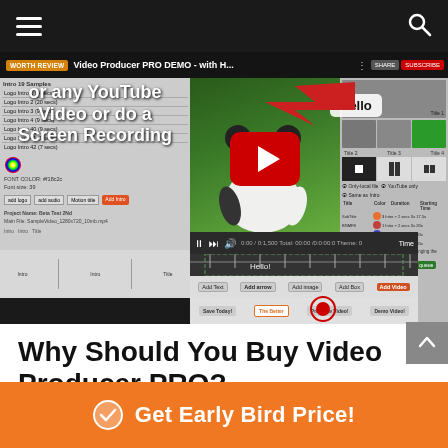[Figure (screenshot): Video Producer PRO DEMO software interface screenshot showing video editing UI with timeline, panels, and YouTube play button. Text overlay reads 'or any YouTube Video or do a Screen Recording']
Why Should You Buy Video Producer PRO?
[Figure (other): Orange CTA button with checkmark icon and text 'Get Early Bird Price!']